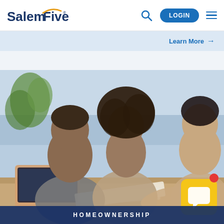SalemFive - LOGIN - navigation menu
Learn More →
[Figure (photo): Three people (two younger adults and one advisor) sitting at a table with a laptop, reviewing documents together. A chat widget with a yellow background and red notification dot is visible in the bottom-right corner.]
HOMEOWNERSHIP